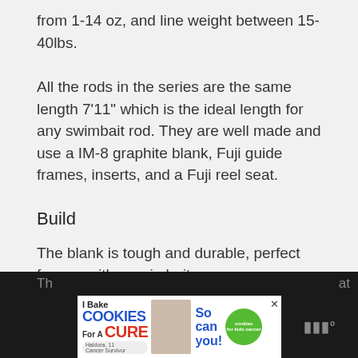from 1-14 oz, and line weight between 15-40lbs.
All the rods in the series are the same length 7’11” which is the ideal length for any swimbait rod. They are well made and use a IM-8 graphite blank, Fuji guide frames, inserts, and a Fuji reel seat.
Build
The blank is tough and durable, perfect for use with a swimbait.
Th... at
[Figure (other): Advertisement banner: I Bake COOKIES For A CURE - Haldora, 11 Cancer Survivor - So can you! - cookies for kids cancer logo - close button]